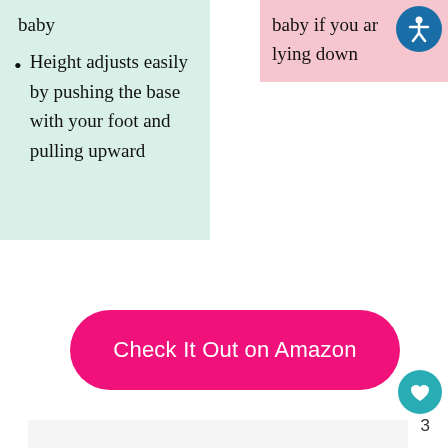baby
Height adjusts easily by pushing the base with your foot and pulling upward
baby if you are lying down
Check It Out on Amazon